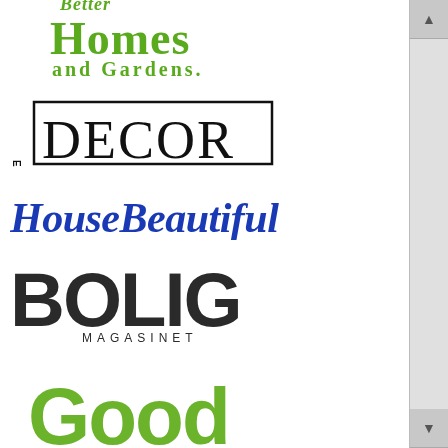[Figure (logo): Better Homes and Gardens magazine logo in green serif font]
[Figure (logo): ELLE DECOR magazine logo in black serif font with border]
[Figure (logo): House Beautiful magazine logo in blue bold italic serif font]
[Figure (logo): BOLIG MAGASINET magazine logo in dark heavy sans-serif font]
[Figure (logo): Good Housekeeping magazine logo in green with Good in bold and Housekeeping in italic script]